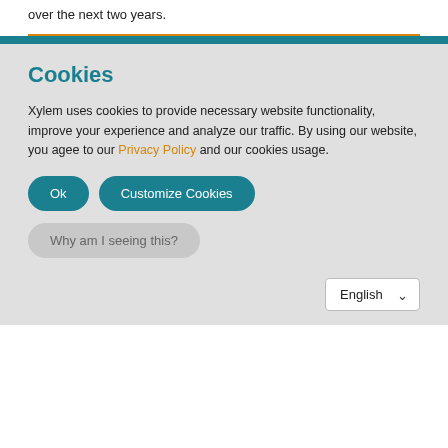over the next two years.
Cookies
Xylem uses cookies to provide necessary website functionality, improve your experience and analyze our traffic. By using our website, you agee to our Privacy Policy and our cookies usage.
Ok
Customize Cookies
Why am I seeing this?
English